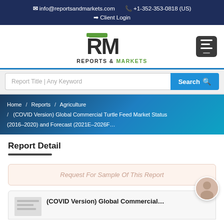✉ info@reportsandmarkets.com  📞 +1-352-353-0818 (US)
➡ Client Login
[Figure (logo): Reports & Markets logo with RM monogram in dark charcoal and green accent, text REPORTS & MARKETS below]
Report Title | Any Keyword   Search
Home / Reports / Agriculture / (COVID Version) Global Commercial Turtle Feed Market Status (2016-2020) and Forecast (2021E-2026F...
Report Detail
Request For Sample Of This Report
(COVID Version) Global Commercial...